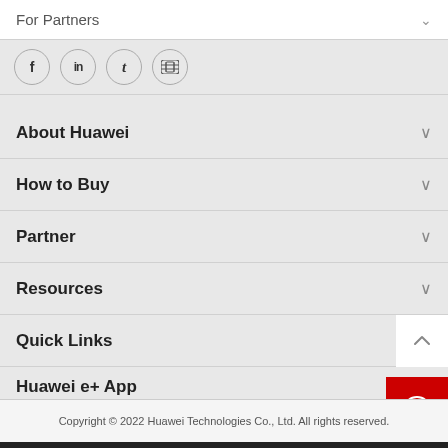For Partners
[Figure (other): Social media icons: Facebook, LinkedIn, Twitter, YouTube in circular borders]
About Huawei
How to Buy
Partner
Resources
Quick Links
Huawei e+ App
[Figure (logo): Huawei e+ App logo — stylized italic e in a circle]
Copyright © 2022 Huawei Technologies Co., Ltd. All rights reserved.